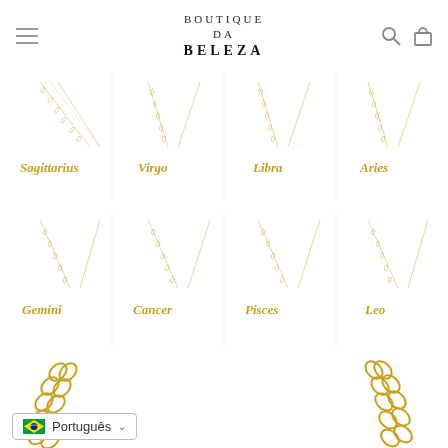BOUTIQUE DA BELEZA
[Figure (photo): E-commerce screenshot of Boutique da Beleza showing zodiac sign necklaces in old English font: Sagittarius, Virgo, Libra, Aries (top row), Gemini, Cancer, Pisces, Leo (bottom row), plus closeup of gold chain links on left and right sides, and a language selector showing Brazilian flag and 'Português']